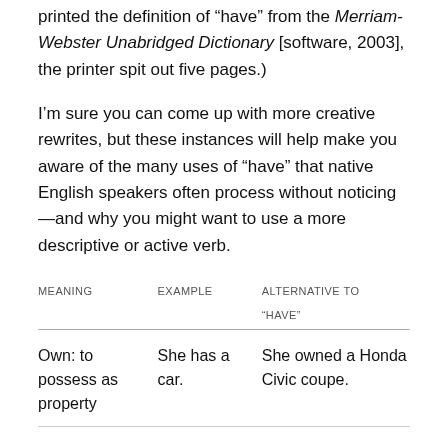printed the definition of “have” from the Merriam-Webster Unabridged Dictionary [software, 2003], the printer spit out five pages.)
I’m sure you can come up with more creative rewrites, but these instances will help make you aware of the many uses of “have” that native English speakers often process without noticing—and why you might want to use a more descriptive or active verb.
| MEANING | EXAMPLE | ALTERNATIVE TO “HAVE” |
| --- | --- | --- |
| Own: to possess as property | She has a car. | She owned a Honda Civic coupe. |